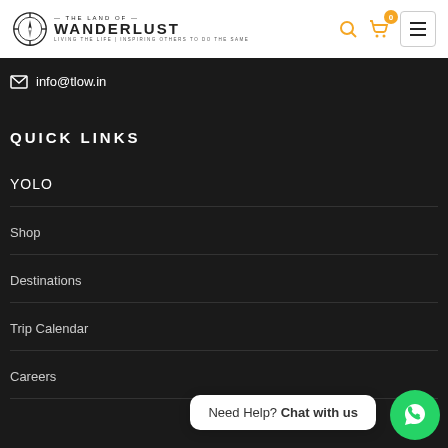[Figure (logo): The Land of Wanderlust logo with compass icon]
info@tlow.in
QUICK LINKS
YOLO
Shop
Destinations
Trip Calendar
Careers
Need Help? Chat with us